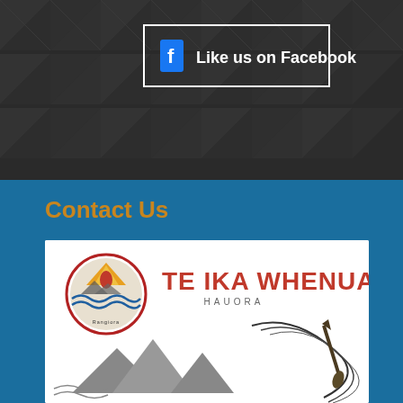[Figure (infographic): Dark background with Maori geometric koru/tukutuku pattern and a Facebook 'Like us on Facebook' button with white border]
Contact Us
[Figure (logo): Te Ika Whenua Hauora logo with circular emblem on left and red bold text 'TE IKA WHENUA' with 'HAUORA' subtitle, and a landscape illustration below with mountains and flax/taiaha motifs]